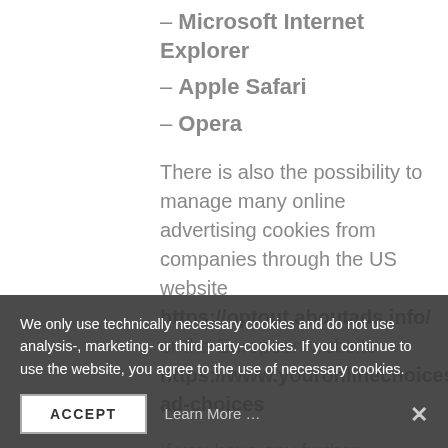– Microsoft Internet Explorer
– Apple Safari
– Opera
There is also the possibility to manage many online advertising cookies from companies through the US website https://optout.aboutads.info/ or the European website https://www.youronlinechoices.com/uk/your-ad-choices
If you have any further questions about our Cookie Policy, please click on "Contact" to send us your questions and suggestions.
We only use technically necessary cookies and do not use analysis-, marketing- or third party-cookies. If you continue to use the website, you agree to the use of necessary cookies.